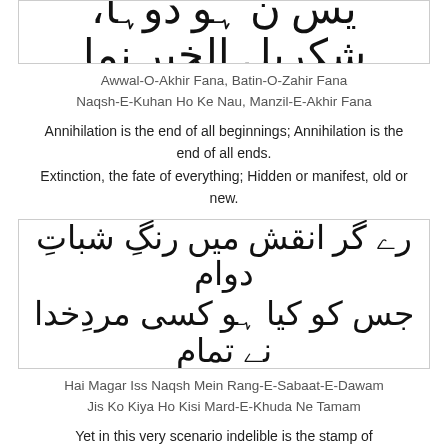[Figure (illustration): Urdu calligraphy text in decorative script, top box]
Awwal-O-Akhir Fana, Batin-O-Zahir Fana
Naqsh-E-Kuhan Ho Ke Nau, Manzil-E-Akhir Fana
Annihilation is the end of all beginnings; Annihilation is the end of all ends.
Extinction, the fate of everything; Hidden or manifest, old or new.
[Figure (illustration): Urdu calligraphy text in decorative script, bottom box]
Hai Magar Iss Naqsh Mein Rang-E-Sabaat-E-Dawam
Jis Ko Kiya Ho Kisi Mard-E-Khuda Ne Tamam
Yet in this very scenario indelible is the stamp of permanence
On the deeds of the good and godly.